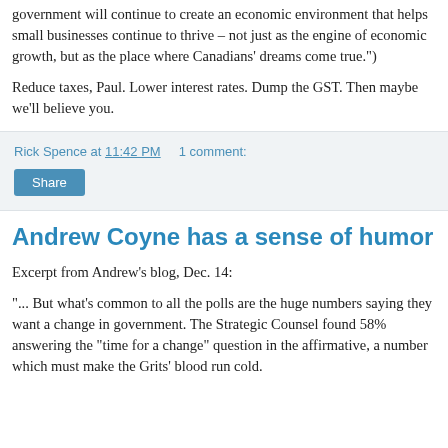government will continue to create an economic environment that helps small businesses continue to thrive – not just as the engine of economic growth, but as the place where Canadians' dreams come true.")
Reduce taxes, Paul. Lower interest rates. Dump the GST. Then maybe we'll believe you.
Rick Spence at 11:42 PM    1 comment:
Andrew Coyne has a sense of humor
Excerpt from Andrew's blog, Dec. 14:
"... But what's common to all the polls are the huge numbers saying they want a change in government. The Strategic Counsel found 58% answering the "time for a change" question in the affirmative, a number which must make the Grits' blood run cold.